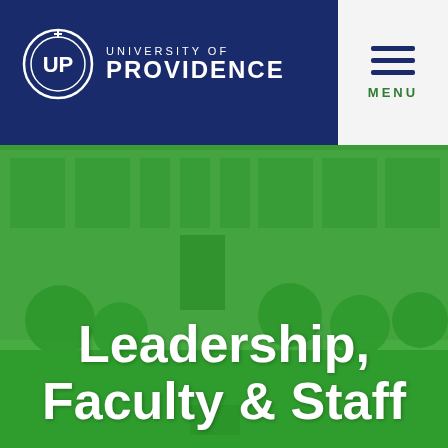[Figure (logo): University of Providence circular logo with UP monogram in white on navy blue background, with text UNIVERSITY OF PROVIDENCE in white]
[Figure (screenshot): Menu icon with three horizontal navy lines and MENU text in green, on white background in top right corner]
[Figure (photo): Aerial/elevated view of university campus building with brick exterior and trees, covered with a green color overlay]
Leadership, Faculty & Staff